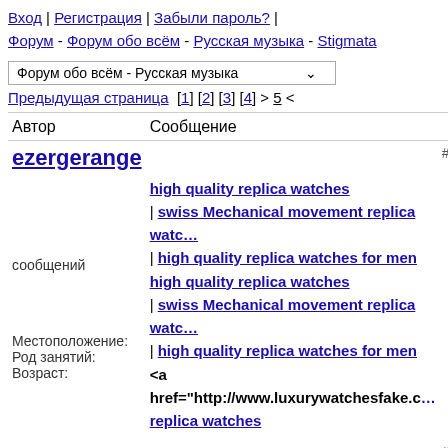Вход | Регистрация | Забыли пароль? | Форум - Форум обо всём - Русская музыка - Stigmata
Форум обо всём - Русская музыка [dropdown]
Предыдущая страница [1] [2] [3] [4] > 5 <
| Автор | Сообщение | # |
| --- | --- | --- |
| ezergerange
сообщений
Местоположение:
Род занятий:
Возраст: | high quality replica watches | swiss Mechanical movement replica watc | high quality replica watches for men high quality replica watches | swiss Mechanical movement replica watc | high quality replica watches for men <a href="http://www.luxurywatchesfake.c replica watches | # |
|  | timberland outlet <a href="http://www.timberlandbootoutle <a href="http://www.timberlandbootoutle Р... | # |